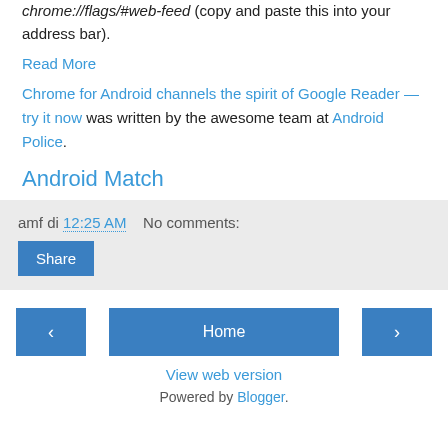chrome://flags/#web-feed (copy and paste this into your address bar).
Read More
Chrome for Android channels the spirit of Google Reader — try it now was written by the awesome team at Android Police.
Android Match
amf di 12:25 AM   No comments:
Share
‹  Home  ›
View web version
Powered by Blogger.